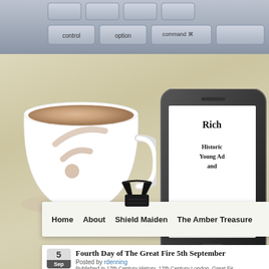[Figure (screenshot): A desk scene screenshot showing a Mac keyboard at the top, a white coffee mug with an RSS feed symbol in the latte art, a smartphone showing partial text 'Rich...' 'Historic... Young Ad... and...', a binder clip, a navigation bar with Home, About, Shield Maiden, The Amber Treasure links, and a blog post entry for 'Fourth Day of The Great Fire 5th September' posted by rdenning.]
Home   About   Shield Maiden   The Amber Treasure
Fifth Day of The Great Fire 5th September
Posted by rdenning
Published in 17th Century History, 17th Century London, Great Fir...